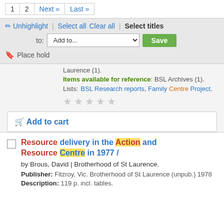1  2  Next »  Last »
✏ Unhighlight  |  Select all  Clear all  |  Select titles  to: Add to...  Save
🔖 Place hold
Laurence (1).
Items available for reference: BSL Archives (1).
Lists: BSL Research reports, Family Centre Project.
★★★★★
🛒 Add to cart
Resource delivery in the Action and Resource Centre in 1977 /
by Brous, David | Brotherhood of St Laurence.
Publisher: Fitzroy, Vic. Brotherhood of St Laurence (unpub.) 1978
Description: 119 p. incl. tables.